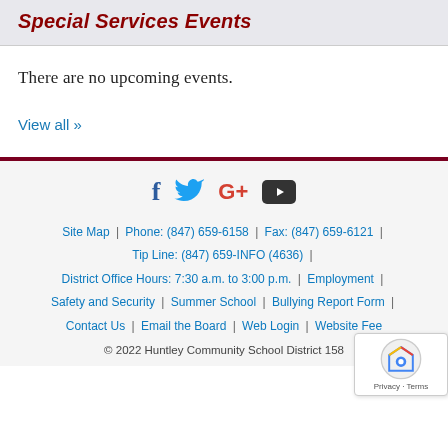Special Services Events
There are no upcoming events.
View all »
Site Map | Phone: (847) 659-6158 | Fax: (847) 659-6121 | Tip Line: (847) 659-INFO (4636) | District Office Hours: 7:30 a.m. to 3:00 p.m. | Employment | Safety and Security | Summer School | Bullying Report Form | Contact Us | Email the Board | Web Login | Website Fee... © 2022 Huntley Community School District 158